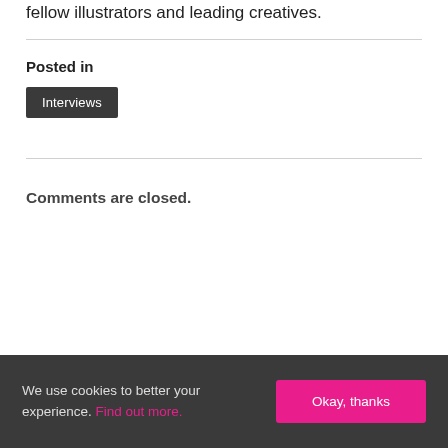fellow illustrators and leading creatives.
Posted in
Interviews
Comments are closed.
We use cookies to better your experience. Find out more.
Okay, thanks